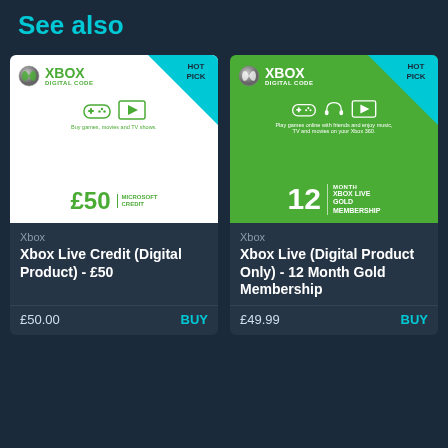See also
[Figure (screenshot): Xbox £50 Microsoft Credit digital card — white card with Xbox logo, controller and video icons, £50 Microsoft Credit label, HOT PICK badge]
Xbox
Xbox Live Credit (Digital Product) - £50
£50.00
BUY
[Figure (screenshot): Xbox 12 Month Gold Membership digital card — green card with Xbox logo, controller, headphones, video icons, 12 Month Xbox Live Gold Membership label, HOT PICK badge]
Xbox
Xbox Live (Digital Product Only) - 12 Month Gold Membership
£49.99
BUY